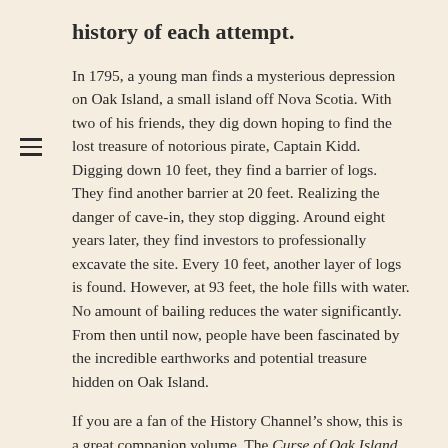history of each attempt.
In 1795, a young man finds a mysterious depression on Oak Island, a small island off Nova Scotia. With two of his friends, they dig down hoping to find the lost treasure of notorious pirate, Captain Kidd. Digging down 10 feet, they find a barrier of logs. They find another barrier at 20 feet. Realizing the danger of cave-in, they stop digging. Around eight years later, they find investors to professionally excavate the site. Every 10 feet, another layer of logs is found. However, at 93 feet, the hole fills with water. No amount of bailing reduces the water significantly. From then until now, people have been fascinated by the incredible earthworks and potential treasure hidden on Oak Island.
If you are a fan of the History Channel’s show, this is a great companion volume. The Curse of Oak Island is a history book filled with interesting details of the